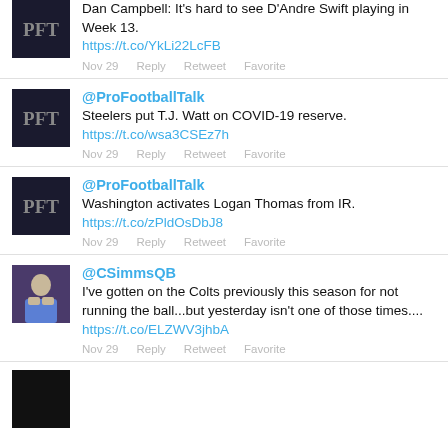Dan Campbell: It's hard to see D'Andre Swift playing in Week 13. https://t.co/YkLi22LcFB
Nov 29  Reply  Retweet  Favorite
@ProFootballTalk
Steelers put T.J. Watt on COVID-19 reserve. https://t.co/wsa3CSEz7h
Nov 29  Reply  Retweet  Favorite
@ProFootballTalk
Washington activates Logan Thomas from IR. https://t.co/zPldOsDbJ8
Nov 29  Reply  Retweet  Favorite
@CSimmsQB
I've gotten on the Colts previously this season for not running the ball...but yesterday isn't one of those times.... https://t.co/ELZWV3jhbA
Nov 29  Reply  Retweet  Favorite